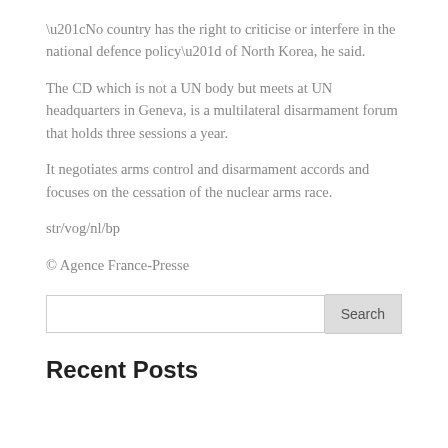“No country has the right to criticise or interfere in the national defence policy” of North Korea, he said.
The CD which is not a UN body but meets at UN headquarters in Geneva, is a multilateral disarmament forum that holds three sessions a year.
It negotiates arms control and disarmament accords and focuses on the cessation of the nuclear arms race.
str/vog/nl/bp
© Agence France-Presse
Recent Posts